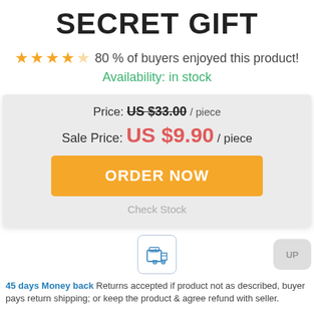SECRET GIFT
★★★★☆ 80 % of buyers enjoyed this product!
Availability: in stock
Price: US $33.00 / piece
Sale Price: US $9.90 / piece
ORDER NOW
Check Stock
[Figure (illustration): Shipping/package icon in a rounded square border]
UP
45 days Money back Returns accepted if product not as described, buyer pays return shipping; or keep the product & agree refund with seller.